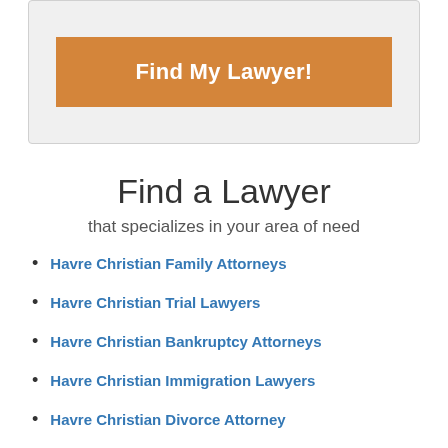[Figure (other): Orange button labeled 'Find My Lawyer!' inside a light grey rounded box]
Find a Lawyer
that specializes in your area of need
Havre Christian Family Attorneys
Havre Christian Trial Lawyers
Havre Christian Bankruptcy Attorneys
Havre Christian Immigration Lawyers
Havre Christian Divorce Attorney